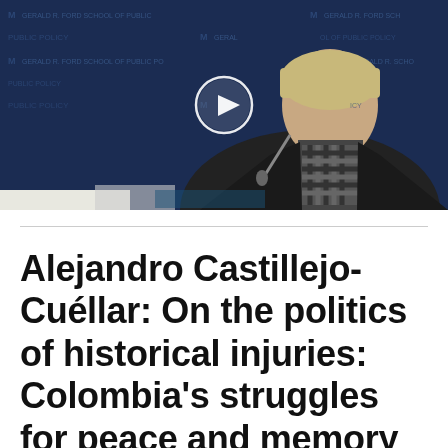[Figure (photo): Video thumbnail showing a person speaking at a podium with a Gerald R. Ford School of Public Policy branded backdrop. A circular white play button overlay is centered on the image.]
Alejandro Castillejo-Cuéllar: On the politics of historical injuries: Colombia's struggles for peace and memory